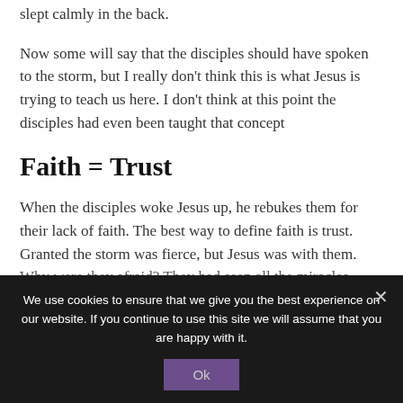slept calmly in the back.
Now some will say that the disciples should have spoken to the storm, but I really don't think this is what Jesus is trying to teach us here. I don't think at this point the disciples had even been taught that concept
Faith = Trust
When the disciples woke Jesus up, he rebukes them for their lack of faith. The best way to define faith is trust. Granted the storm was fierce, but Jesus was with them. Why were they afraid? They had seen all the miracles
We use cookies to ensure that we give you the best experience on our website. If you continue to use this site we will assume that you are happy with it.